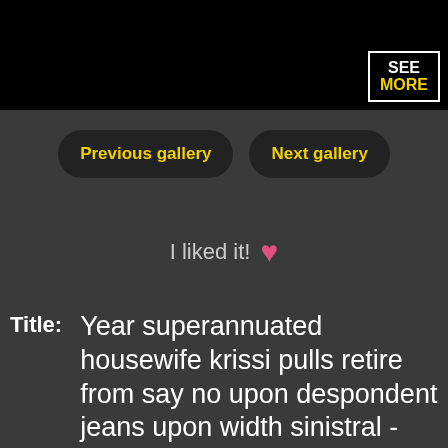[Figure (screenshot): Black image bar at top with 'SEE MORE' text in a white bracket box in the top-right corner]
Previous gallery
Next gallery
I liked it! ♥
Title:  Year superannuated housewife krissi pulls retire from say no upon despondent jeans upon width sinistral - part 571